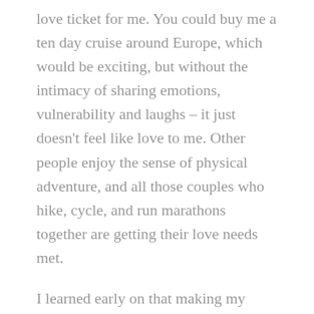love ticket for me. You could buy me a ten day cruise around Europe, which would be exciting, but without the intimacy of sharing emotions, vulnerability and laughs – it just doesn't feel like love to me. Other people enjoy the sense of physical adventure, and all those couples who hike, cycle, and run marathons together are getting their love needs met.
I learned early on that making my beloved a cup of tea first thing in the morning, especially before he gets out of bed, deeply moves him. I don't drink tea, and am not that big on being in the kitchen first thing, but I know that this small gesture makes him feel loved and cared for. And I want him to feel that. I have also learned this is a way